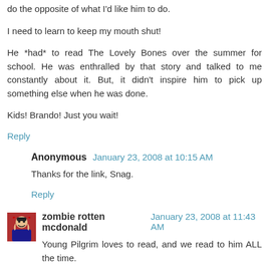do the opposite of what I'd like him to do.
I need to learn to keep my mouth shut!
He *had* to read The Lovely Bones over the summer for school. He was enthralled by that story and talked to me constantly about it. But, it didn't inspire him to pick up something else when he was done.
Kids! Brando! Just you wait!
Reply
Anonymous January 23, 2008 at 10:15 AM
Thanks for the link, Snag.
Reply
[Figure (illustration): Small avatar image of zombie rotten mcdonald - appears to be a comic book style character]
zombie rotten mcdonald January 23, 2008 at 11:43 AM
Young Pilgrim loves to read, and we read to him ALL the time.